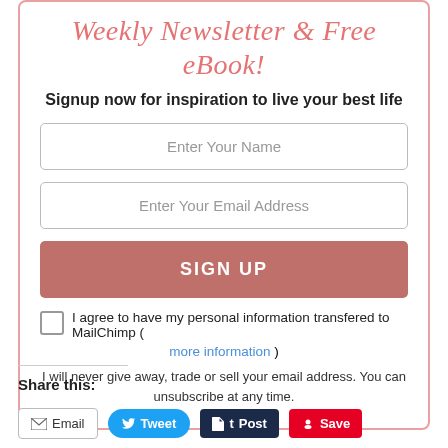Weekly Newsletter & Free eBook!
Signup now for inspiration to live your best life
Enter Your Name
Enter Your Email Address
SIGN UP
I agree to have my personal information transfered to MailChimp ( more information )
I will never give away, trade or sell your email address. You can unsubscribe at any time.
Share this:
Email
Tweet
Post
Save